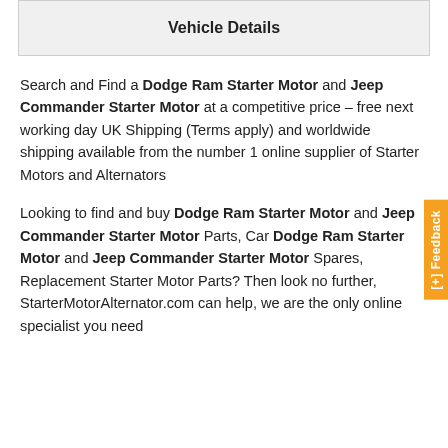Vehicle Details
Search and Find a Dodge Ram Starter Motor and Jeep Commander Starter Motor at a competitive price – free next working day UK Shipping (Terms apply) and worldwide shipping available from the number 1 online supplier of Starter Motors and Alternators
Looking to find and buy Dodge Ram Starter Motor and Jeep Commander Starter Motor Parts, Car Dodge Ram Starter Motor and Jeep Commander Starter Motor Spares, Replacement Starter Motor Parts? Then look no further, StarterMotorAlternator.com can help, we are the only online specialist you need